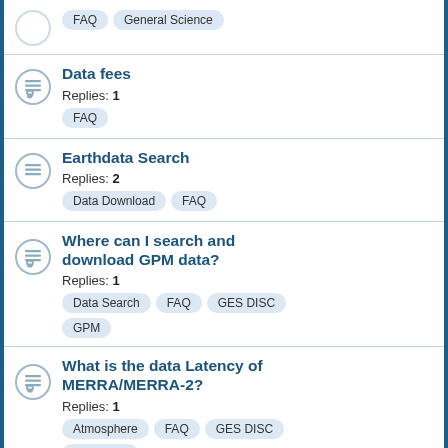FAQ  General Science
Data fees
Replies: 1  FAQ
Earthdata Search
Replies: 2  Data Download  FAQ
Where can I search and download GPM data?
Replies: 1  Data Search  FAQ  GES DISC  GPM
What is the data Latency of MERRA/MERRA-2?
Replies: 1  Atmosphere  FAQ  GES DISC  MERRA-2